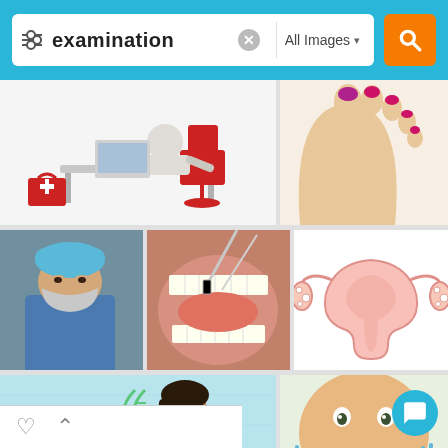[Figure (screenshot): Mobile image search interface showing search bar with query 'examination', All Images filter, and orange search button, with a grid of 7 medical-related images below: doctor at desk with medical kit, foot with painted toenails, surgeon in scrubs and mask, dental mouth examination, uterus anatomy diagram, woman with DNA helix, child dental examination]
examination
All Images